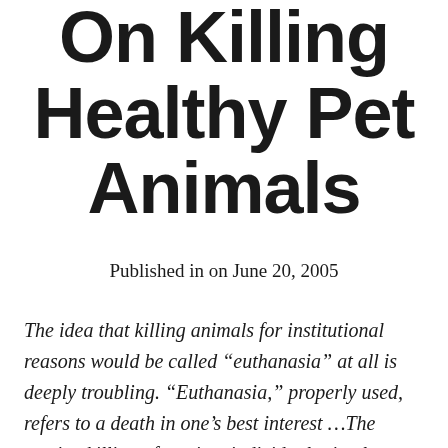On Killing Healthy Pet Animals
Published in on June 20, 2005
The idea that killing animals for institutional reasons would be called “euthanasia” at all is deeply troubling. “Euthanasia,” properly used, refers to a death in one’s best interest …The routine killing of sentient individuals simply to